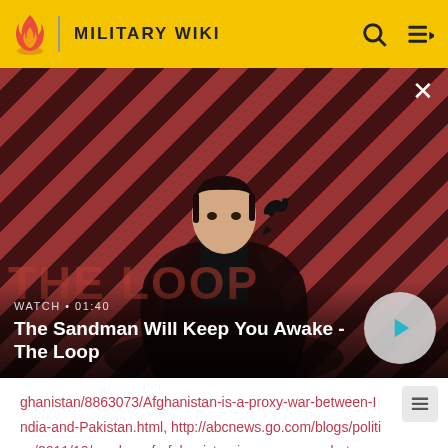MILITARY WIKI
[Figure (screenshot): Video thumbnail for 'The Sandman Will Keep You Awake - The Loop' showing a dark-clothed figure against a red and dark diagonal striped background with a raven on shoulder. Duration 01:40.]
WATCH • 01:40
The Sandman Will Keep You Awake - The Loop
ghanistan/8863073/Afghanistan-is-a-proxy-war-between-India-and-Pakistan.html, http://abcnews.go.com/blogs/politics/2011/10/musharraf-afghanistan-is-a-proxy-war-between-india-and-pakistan/